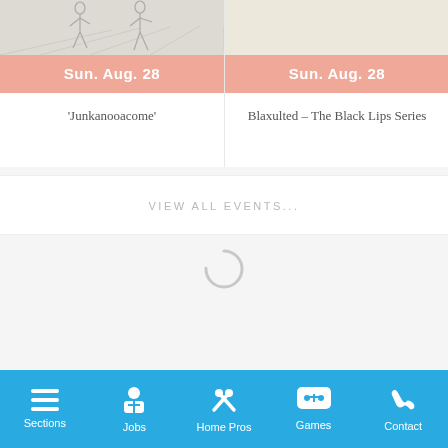[Figure (illustration): Top portion of two event cards side by side. Left card shows a sketched illustration of people dancing. Right card shows a light beige/cream colored image.]
Sun. Aug. 28
Sun. Aug. 28
'Junkanooacome'
Blaxulted – The Black Lips Series
VIEW ALL EVENTS...
[Figure (other): Loading spinner (circular arc indicating loading)]
Sections  Jobs  Home Pros  Games  Contact